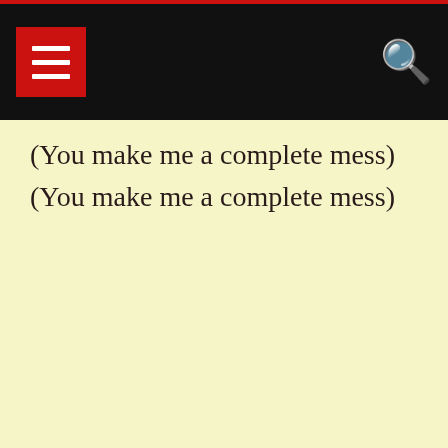navigation bar with menu and search
(You make me a complete mess)
(You make me a complete mess)